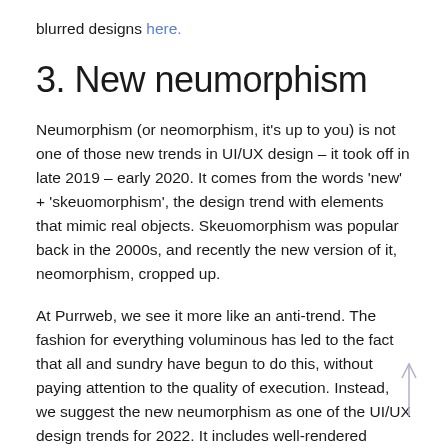blurred designs here.
3. New neumorphism
Neumorphism (or neomorphism, it's up to you) is not one of those new trends in UI/UX design – it took off in late 2019 – early 2020. It comes from the words 'new' + 'skeuomorphism', the design trend with elements that mimic real objects. Skeuomorphism was popular back in the 2000s, and recently the new version of it, neomorphism, cropped up.
At Purrweb, we see it more like an anti-trend. The fashion for everything voluminous has led to the fact that all and sundry have begun to do this, without paying attention to the quality of execution. Instead, we suggest the new neumorphism as one of the UI/UX design trends for 2022. It includes well-rendered shadows, volume, and gradients.